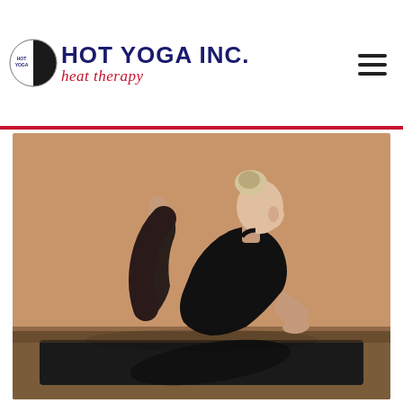HOT YOGA INC. heat therapy
[Figure (photo): Woman in black athletic wear performing a yoga pose (pigeon/king pigeon variant) on a dark mat against a warm orange/tan background. She has blonde hair in a bun and is viewed from the side-rear angle with one leg bent behind her.]